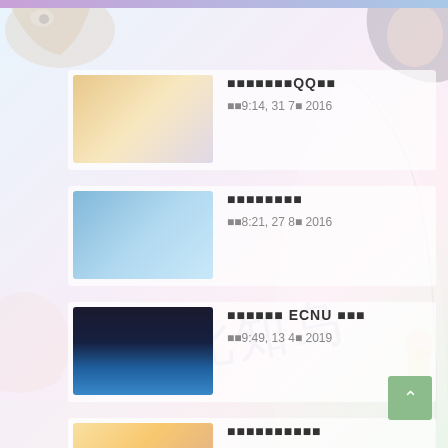■■■■■■■QQ■■
■■9:14, 31 7■ 2016
■■■■■■■■
■■8:21, 27 8■ 2016
■■■■■■ ECNU ■■■
■■9:49, 13 4■ 2019
■■■■■■■■■■
■■10:17, 30 4■ 2019
■■■■ 1024 ■■■■■■~
■■9:32, 23 12■ 2018